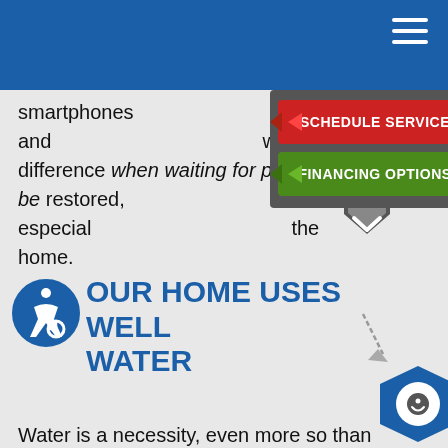smartphones and ... world of difference when waiting for power to be restored, especially ... the home.
[Figure (screenshot): Dropdown overlay with two call-to-action buttons: 'SCHEDULE SERVICE' (red) and 'FINANCING OPTIONS' (green), with a chevron/caret at bottom]
YOUR HOME USES WELL WATER
Water is a necessity, even more so than electricity. But with electricity cut from your pump and filtration systems, you will lose access to water that is safe to drink, and you may even lose access to water from your tap entirely.